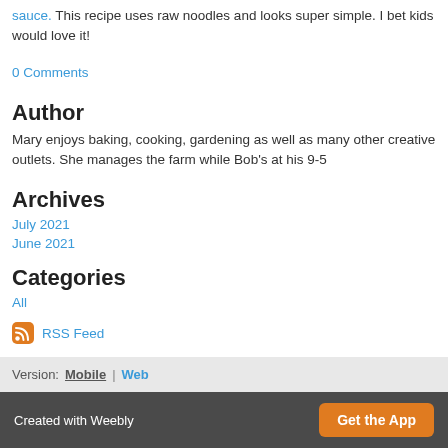sauce. This recipe uses raw noodles and looks super simple. I bet kids would love it!
0 Comments
Author
Mary enjoys baking, cooking, gardening as well as many other creative outlets. She manages the farm while Bob's at his 9-5
Archives
July 2021
June 2021
Categories
All
RSS Feed
Version: Mobile | Web
Created with Weebly   Get the App